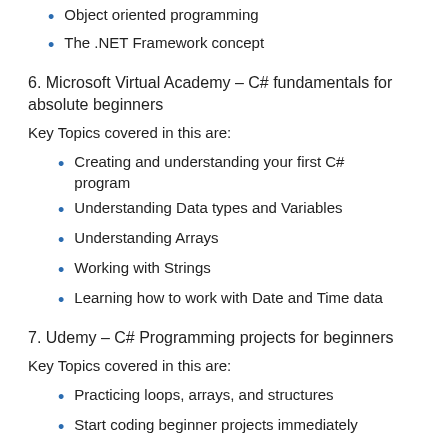Object oriented programming
The .NET Framework concept
6. Microsoft Virtual Academy – C# fundamentals for absolute beginners
Key Topics covered in this are:
Creating and understanding your first C# program
Understanding Data types and Variables
Understanding Arrays
Working with Strings
Learning how to work with Date and Time data
7. Udemy – C# Programming projects for beginners
Key Topics covered in this are:
Practicing loops, arrays, and structures
Start coding beginner projects immediately
Thinking like a programmer
Using the right approach